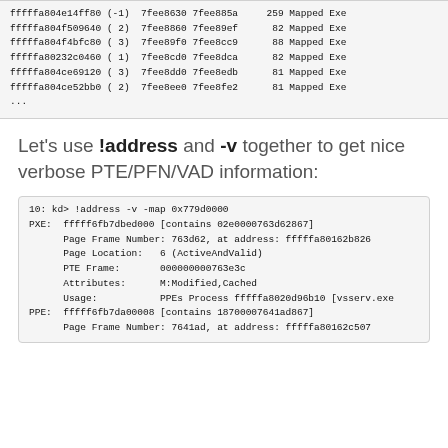fffffa804e14ff80 (-1)  7fee8630 7fee885a     259 Mapped Exe
fffffa804f509640 ( 2)  7fee8860 7fee89ef      82 Mapped Exe
fffffa804f4bfc80 ( 3)  7fee89f0 7fee8cc9      88 Mapped Exe
fffffa80232c0460 ( 1)  7fee8cd0 7fee8dca      82 Mapped Exe
fffffa804ce69120 ( 3)  7fee8dd0 7fee8edb      81 Mapped Exe
fffffa804ce52bb0 ( 2)  7fee8ee0 7fee8fe2      81 Mapped Exe
...
Let's use !address and -v together to get nice verbose PTE/PFN/VAD information:
10: kd> !address -v -map 0x779d0000
PXE:  fffff6fb7dbed000 [contains 02e0000763d62867]
      Page Frame Number: 763d62, at address: fffffa80162b826
      Page Location:   6 (ActiveAndValid)
      PTE Frame:       000000000763e3c
      Attributes:      M:Modified,Cached
      Usage:           PPEs Process fffffa8020d96b10 [vsserv.exe
PPE:  fffff6fb7da00008 [contains 18700007641ad867]
      Page Frame Number: 7641ad, at address: fffffa80162c507